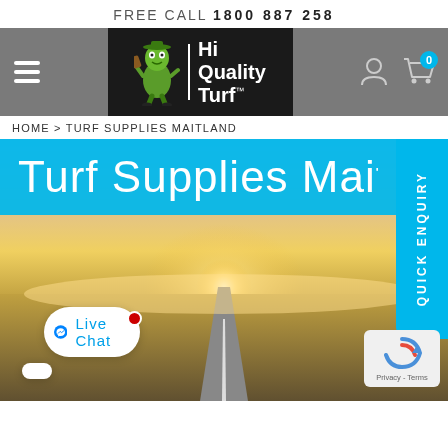FREE CALL 1800 887 258
[Figure (logo): Hi Quality Turf logo with green alien mascot on black background, navigation bar with hamburger menu, user and cart icons]
HOME > TURF SUPPLIES MAITLAND
Turf Supplies Maitlan
[Figure (photo): Sunset landscape photo with road leading into bright horizon, used as hero background image]
QUICK ENQUIRY
Live Chat
[Figure (other): reCAPTCHA badge with Privacy - Terms text]